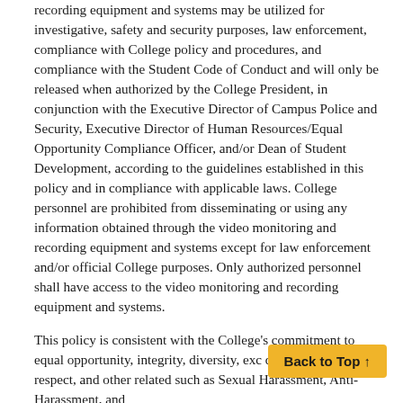recording equipment and systems may be utilized for investigative, safety and security purposes, law enforcement, compliance with College policy and procedures, and compliance with the Student Code of Conduct and will only be released when authorized by the College President, in conjunction with the Executive Director of Campus Police and Security, Executive Director of Human Resources/Equal Opportunity Compliance Officer, and/or Dean of Student Development, according to the guidelines established in this policy and in compliance with applicable laws. College personnel are prohibited from disseminating or using any information obtained through the video monitoring and recording equipment and systems except for law enforcement and/or official College purposes. Only authorized personnel shall have access to the video monitoring and recording equipment and systems.
This policy is consistent with the College's commitment to equal opportunity, integrity, diversity, exc dignity, mutual respect, and other related such as Sexual Harassment, Anti- Harassment, and
[Figure (other): Back to Top button — a yellow/gold rounded rectangle with bold black text reading 'Back to Top ↑']